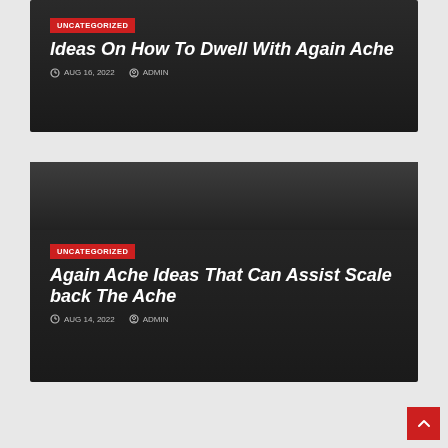UNCATEGORIZED
Ideas On How To Dwell With Again Ache
AUG 16, 2022  ADMIN
UNCATEGORIZED
Again Ache Ideas That Can Assist Scale back The Ache
AUG 14, 2022  ADMIN